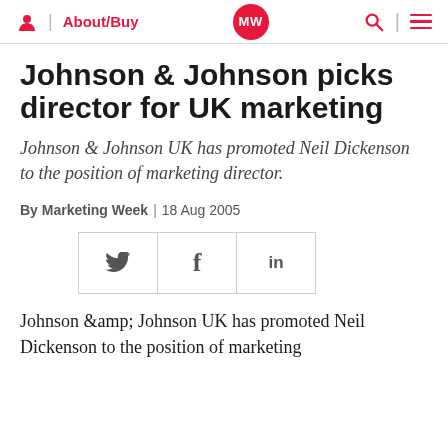About/Buy | MW | Search | Menu
Johnson & Johnson picks director for UK marketing
Johnson & Johnson UK has promoted Neil Dickenson to the position of marketing director.
By Marketing Week | 18 Aug 2005
[Figure (other): Social share buttons: Twitter, Facebook, LinkedIn]
Johnson &amp; Johnson UK has promoted Neil Dickenson to the position of marketing